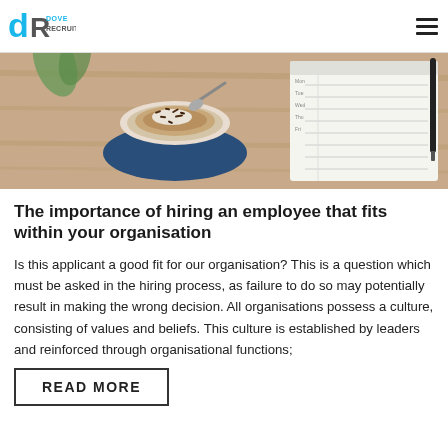Dove Recruitment
[Figure (photo): Overhead view of a cappuccino coffee on a blue saucer on a wooden table, next to an open planner/notebook and a pen]
The importance of hiring an employee that fits within your organisation
Is this applicant a good fit for our organisation? This is a question which must be asked in the hiring process, as failure to do so may potentially result in making the wrong decision. All organisations possess a culture, consisting of values and beliefs. This culture is established by leaders and reinforced through organisational functions;
READ MORE